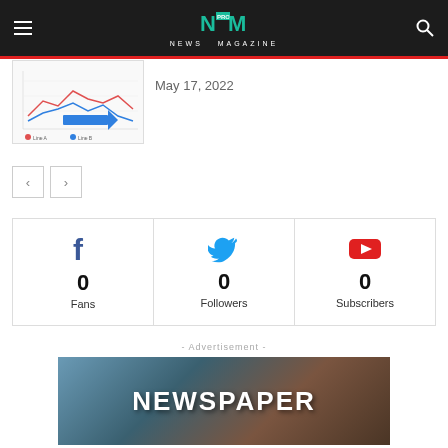NM NEWS MAGAZINE
[Figure (screenshot): Thumbnail of a line chart with blue arrow]
May 17, 2022
[Figure (other): Navigation previous/next arrow buttons]
[Figure (infographic): Social media stats: Facebook 0 Fans, Twitter 0 Followers, YouTube 0 Subscribers]
- Advertisement -
[Figure (photo): Advertisement banner showing NEWSPAPER text over an outdoor background image]